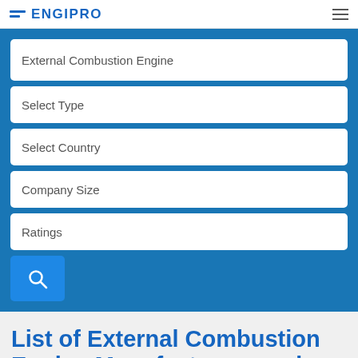ENGIPRO
External Combustion Engine
Select Type
Select Country
Company Size
Ratings
List of External Combustion Engine Manufacturers and Suppliers Companies